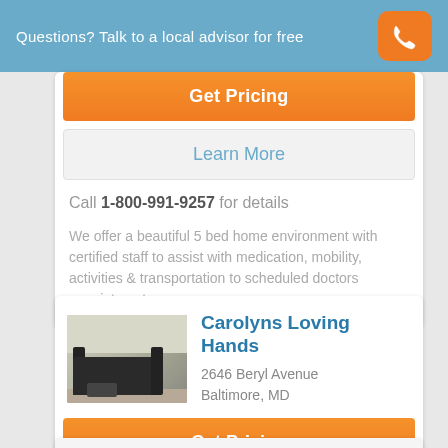Questions? Talk to a local advisor for free
Get Pricing
Learn More
Call 1-800-991-9257 for details
We offer a beautiful 5 bed home environment with certified staff to assist with medication, mobility, activities & transportation to scheduled doctors appointments.
Carolyns Loving Hands
2646 Beryl Avenue
Baltimore, MD
Get Pricing